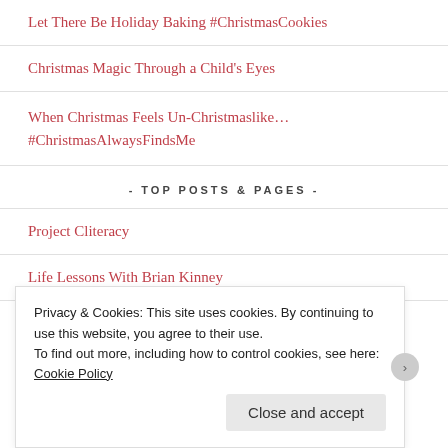Let There Be Holiday Baking #ChristmasCookies
Christmas Magic Through a Child's Eyes
When Christmas Feels Un-Christmaslike… #ChristmasAlwaysFindsMe
- TOP POSTS & PAGES -
Project Cliteracy
Life Lessons With Brian Kinney
Privacy & Cookies: This site uses cookies. By continuing to use this website, you agree to their use.
To find out more, including how to control cookies, see here: Cookie Policy
Close and accept